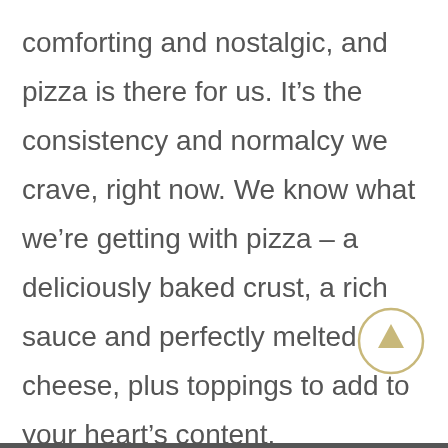comforting and nostalgic, and pizza is there for us. It's the consistency and normalcy we crave, right now. We know what we're getting with pizza – a deliciously baked crust, a rich sauce and perfectly melted cheese, plus toppings to add to your heart's content.

Besides being satisfying, the value of pizza is immeasurable. It's affordable, fills you up, and brings people together. When have you ever